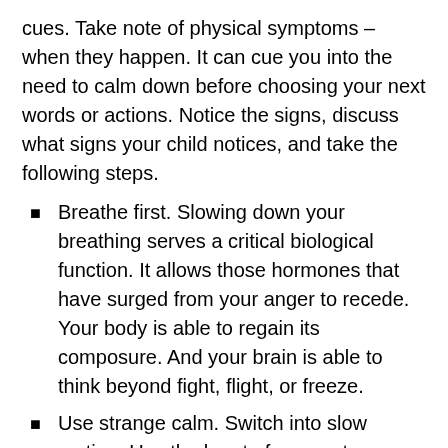cues. Take note of physical symptoms – when they happen. It can cue you into the need to calm down before choosing your next words or actions. Notice the signs, discuss what signs your child notices, and take the following steps.
Breathe first. Slowing down your breathing serves a critical biological function. It allows those hormones that have surged from your anger to recede. Your body is able to regain its composure. And your brain is able to think beyond fight, flight, or freeze.
Use strange calm. Switch into slow motion. Use the burst of energy to